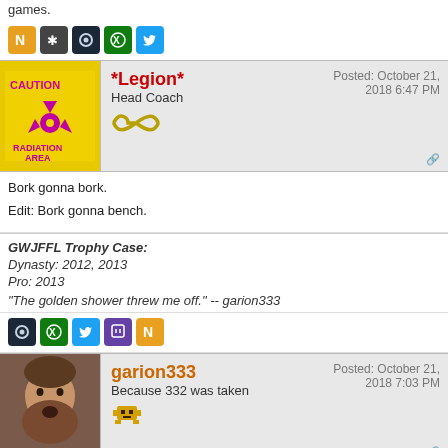games.
[Figure (infographic): Row of social/platform icons: N (orange), hashtag (dark), Steam, Xbox (green), Twitter (blue)]
*Legion* | Head Coach | Posted: October 21, 2018 6:47 PM
Bork gonna bork.

Edit: Bork gonna bench.
GWJFFL Trophy Case:
Dynasty: 2012, 2013
Pro: 2013
"The golden shower threw me off." -- garion333
[Figure (infographic): Row of platform icons: Steam, Xbox, Twitter, Twitch, N (orange)]
garion333 | Because 332 was taken | Posted: October 21, 2018 7:03 PM
*Legion* wrote:
Bork gonna bork.